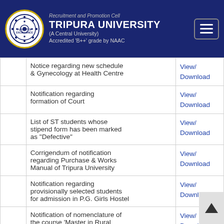Recruitment and Promotion Cell
TRIPURA UNIVERSITY
(A Central University)
Accredited 'B++' grade by NAAC
|  | Description | Link |
| --- | --- | --- |
|  | Notice regarding new schedule & Gynecology at Health Centre | View/Download |
|  | Notification regarding formation of Court | View/Download |
|  | List of ST students whose stipend form has been marked as "Defective" | View/Download |
|  | Corrigendum of notification regarding Purchase & Works Manual of Tripura University | View/Download |
|  | Notification regarding provisionally selected students for admission in P.G. Girls Hostel | View/Download |
|  | Notification of nomenclature of the course 'Master in Rural Management & Development (MRMD)' to 'Master of Rural Studies (MRS)' | View/Download |
|  | Notification regarding | View/ |